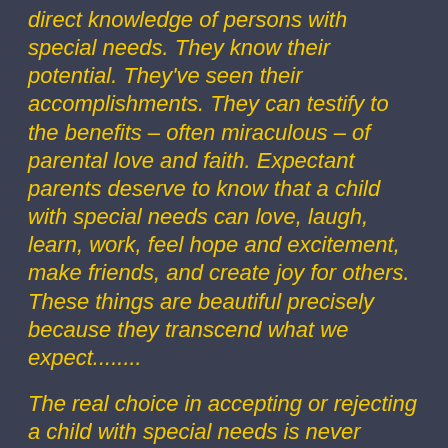direct knowledge of persons with special needs. They know their potential. They've seen their accomplishments. They can testify to the benefits – often miraculous – of parental love and faith. Expectant parents deserve to know that a child with special needs can love, laugh, learn, work, feel hope and excitement, make friends, and create joy for others. These things are beautiful precisely because they transcend what we expect........
The real choice in accepting or rejecting a child with special needs is never between some imaginary perfection or imperfection. None of us is perfect. No child is perfect.